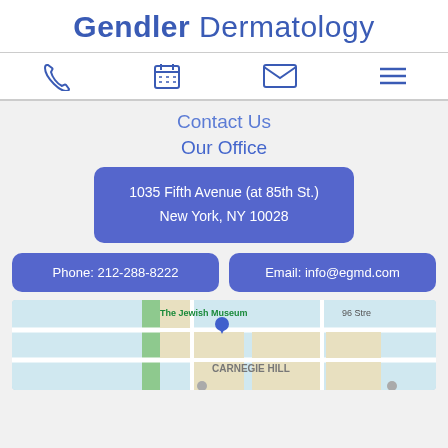Gendler Dermatology
[Figure (infographic): Navigation icons: phone, calendar, email, menu]
Contact Us
Our Office
1035 Fifth Avenue (at 85th St.)
New York, NY 10028
Phone: 212-288-8222
Email: info@egmd.com
[Figure (map): Google map showing Carnegie Hill area with The Jewish Museum, 96 Street label visible]